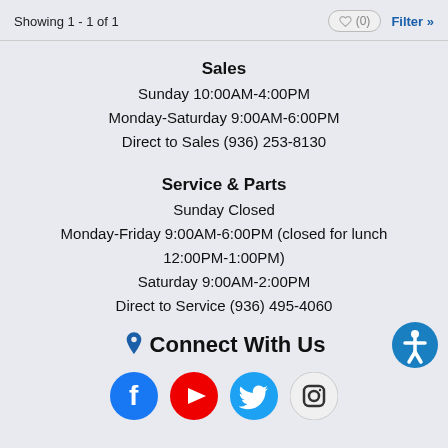Showing 1 - 1 of 1
Sales
Sunday 10:00AM-4:00PM
Monday-Saturday 9:00AM-6:00PM
Direct to Sales (936) 253-8130
Service & Parts
Sunday Closed
Monday-Friday 9:00AM-6:00PM (closed for lunch 12:00PM-1:00PM)
Saturday 9:00AM-2:00PM
Direct to Service (936) 495-4060
Connect With Us
[Figure (other): Social media icons: Facebook (blue), YouTube (red), Twitter (cyan), Instagram (black/white)]